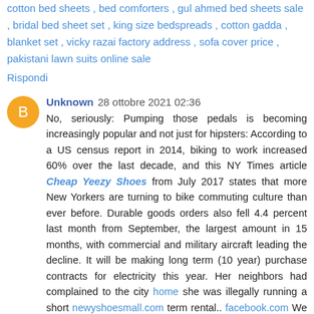cotton bed sheets , bed comforters , gul ahmed bed sheets sale , bridal bed sheet set , king size bedspreads , cotton gadda , blanket set , vicky razai factory address , sofa cover price , pakistani lawn suits online sale
Rispondi
Unknown 28 ottobre 2021 02:36
No, seriously: Pumping those pedals is becoming increasingly popular and not just for hipsters: According to a US census report in 2014, biking to work increased 60% over the last decade, and this NY Times article Cheap Yeezy Shoes from July 2017 states that more New Yorkers are turning to bike commuting culture than ever before. Durable goods orders also fell 4.4 percent last month from September, the largest amount in 15 months, with commercial and military aircraft leading the decline. It will be making long term (10 year) purchase contracts for electricity this year. Her neighbors had complained to the city home she was illegally running a short newyshoesmall.com term rental.. facebook.com We need